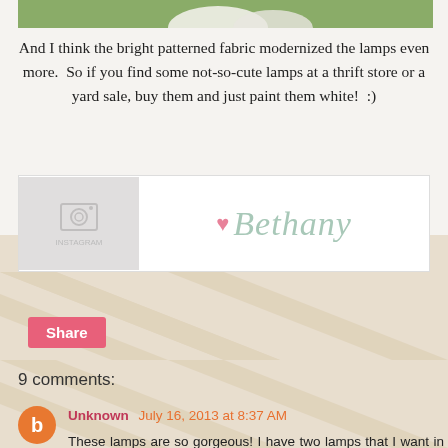[Figure (photo): Top portion of a photo showing lamps on grass, cropped at top]
And I think the bright patterned fabric modernized the lamps even more.  So if you find some not-so-cute lamps at a thrift store or a yard sale, buy them and just paint them white!  :)
[Figure (photo): Signature block with placeholder photo thumbnail on left and cursive signature 'Bethany' with pink heart on right]
Share
9 comments:
Unknown July 16, 2013 at 8:37 AM
These lamps are so gorgeous! I have two lamps that I want in my craft room but they need makeovers. The shades aren't smooth, though, so I will have to buy new shades (hoping to find some at a thrift store that I can re-cover). I have red high gloss spray paint for the lamps. So ready to